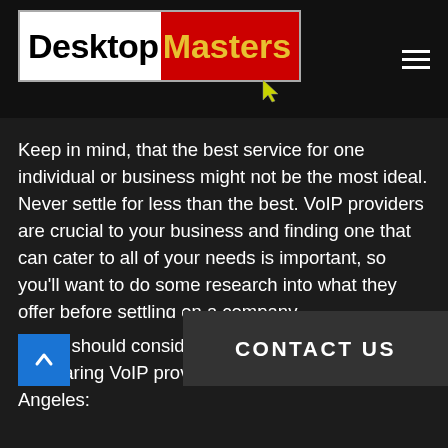[Figure (logo): DesktopMasters logo with white background for 'Desktop' text and red background for 'Masters' text in yellow, with a yellow cursor icon below]
Keep in mind, that the best service for one individual or business might not be the most ideal. Never settle for less than the best. VoIP providers are crucial to your business and finding one that can cater to all of your needs is important, so you'll want to do some research into what they offer before settling on a company.
Users should consider th comparing VoIP providers in Whittier, Los Angeles: